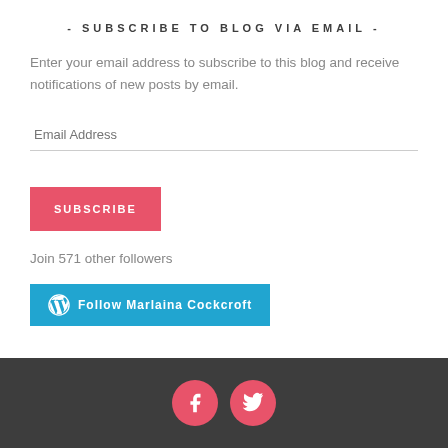- SUBSCRIBE TO BLOG VIA EMAIL -
Enter your email address to subscribe to this blog and receive notifications of new posts by email.
Join 571 other followers
[Figure (other): Follow Marlaina Cockcroft button in blue with WordPress icon]
[Figure (other): Dark footer bar with two pink circular social media icons: Facebook and Twitter]